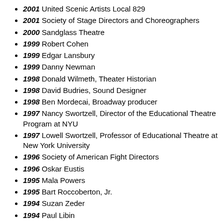2001 United Scenic Artists Local 829
2001 Society of Stage Directors and Choreographers
2000 Sandglass Theatre
1999 Robert Cohen
1999 Edgar Lansbury
1999 Danny Newman
1998 Donald Wilmeth, Theater Historian
1998 David Budries, Sound Designer
1998 Ben Mordecai, Broadway producer
1997 Nancy Swortzell, Director of the Educational Theatre Program at NYU
1997 Lowell Swortzell, Professor of Educational Theatre at New York University
1996 Society of American Fight Directors
1996 Oskar Eustis
1995 Mala Powers
1995 Bart Roccoberton, Jr.
1994 Suzan Zeder
1994 Paul Libin